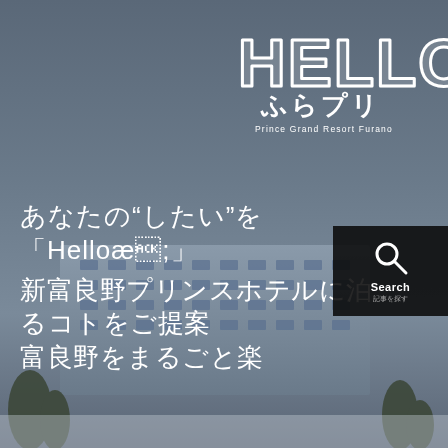[Figure (photo): Aerial/ground-level photo of Shin-Furano Prince Hotel building against a grey-blue winter sky with bare trees in foreground]
HELLO ふらプリ Prince Grand Resort Furano
[Figure (other): Search button/icon box (black background) with magnifying glass icon, 'Search' label and '記事を探す' subtext]
あなたの"したい"を「Helloふ... 新富良野プリンスホテルに泊... るコトをご提案 富良野をまるごと楽...